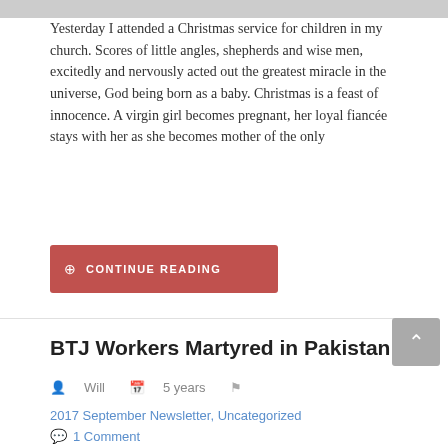[Figure (photo): Partial photo strip at top of page, cropped wedding or formal event scene]
Yesterday I attended a Christmas service for children in my church. Scores of little angles, shepherds and wise men, excitedly and nervously acted out the greatest miracle in the universe, God being born as a baby. Christmas is a feast of innocence. A virgin girl becomes pregnant, her loyal fiancée stays with her as she becomes mother of the only
CONTINUE READING
BTJ Workers Martyred in Pakistan
Will   5 years
2017 September Newsletter, Uncategorized
1 Comment